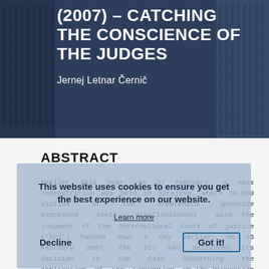(2007) - CATCHING THE CONSCIENCE OF THE JUDGES
Jernej Letnar Černič
ABSTRACT
Earlier this year, on 27 February, a mass demonstration was held in Sarajevo, where 10,000 victims of the Srebrenica genocide expressed their disillusionment with the judgment of the International Court of justice ('ICJ') handed down a day earlier. On 26 February 2007, the ICJ had delivered its decision in the Case Concerning the Application of the Convention on the Prevention and Punishment of the Crime of Genocide (Bosnia and Herzegovina v Serbia and Montenegro). The Case Concerning the